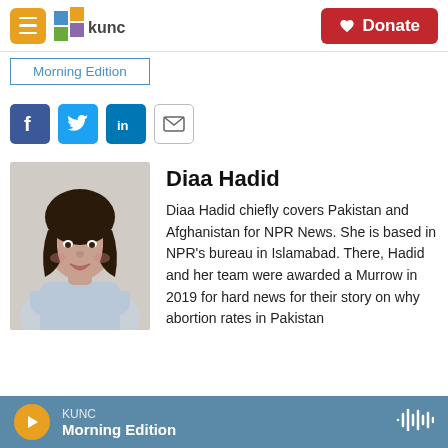[Figure (screenshot): KUNC public radio website header with hamburger menu, KUNC logo, and red Donate button]
Morning Edition
[Figure (infographic): Social share buttons: Facebook, Twitter, LinkedIn, Email]
[Figure (photo): Portrait photo of Diaa Hadid, a woman with dark curly hair, arms crossed, wearing a light blue top]
Diaa Hadid
Diaa Hadid chiefly covers Pakistan and Afghanistan for NPR News. She is based in NPR's bureau in Islamabad. There, Hadid and her team were awarded a Murrow in 2019 for hard news for their story on why abortion rates in Pakistan
KUNC Morning Edition